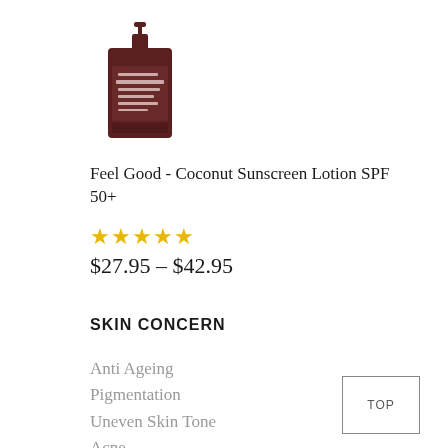[Figure (photo): Dark brown/maroon bottle of Feel Good Coconut Sunscreen Lotion SPF 50+ product with a pump top]
Feel Good - Coconut Sunscreen Lotion SPF 50+
★★★★★
$27.95 – $42.95
SKIN CONCERN
Anti Ageing
Pigmentation
Uneven Skin Tone
Acne
Blackheads
Dull/Dry
Dehydrated